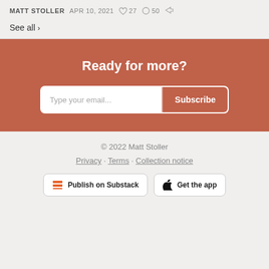MATT STOLLER  APR 10, 2021  ♡ 27  ◯ 50  ↗
See all ›
Ready for more?
Type your email... [Subscribe]
© 2022 Matt Stoller
Privacy · Terms · Collection notice
Publish on Substack  Get the app